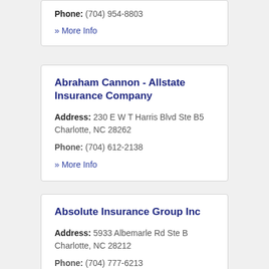Phone: (704) 954-8803
» More Info
Abraham Cannon - Allstate Insurance Company
Address: 230 E W T Harris Blvd Ste B5
Charlotte, NC 28262
Phone: (704) 612-2138
» More Info
Absolute Insurance Group Inc
Address: 5933 Albemarle Rd Ste B
Charlotte, NC 28212
Phone: (704) 777-6213
» More Info